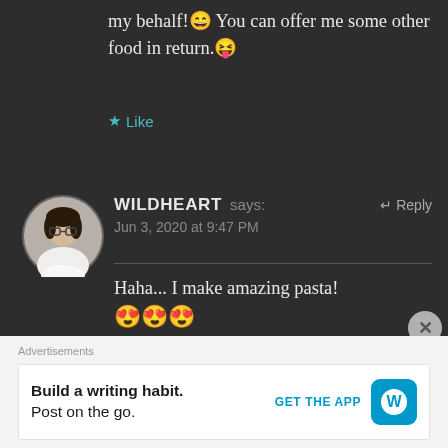my behalf!😄 You can offer me some other food in return.😜
★ Like
WILDHEART says:   ↩ Reply
Jun 3, 2020 at 9:47 PM
Haha... I make amazing pasta! 😍😍😍
★ Liked by 1 person
Advertisements
Build a writing habit.
Post on the go.
GET THE APP